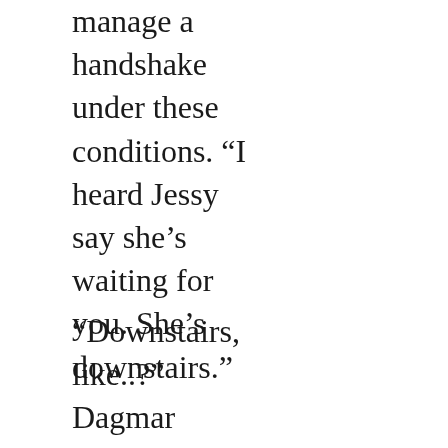manage a handshake under these conditions. “I heard Jessy say she’s waiting for you. She’s downstairs.”
“Downstairs, like..?” Dagmar prayed the answer was